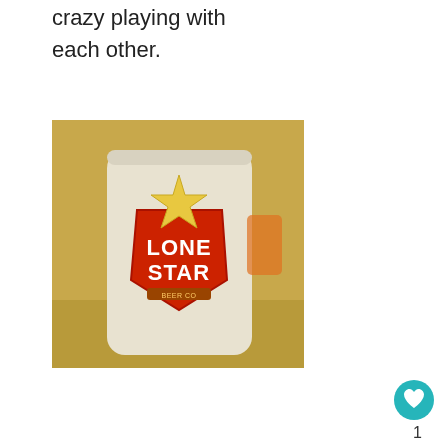crazy playing with each other.
[Figure (photo): A Lone Star beer cup/mug with the Lone Star logo (red shield with gold star) on a granite countertop.]
1
{SUNDAY}
[Figure (photo): What's Next thumbnail showing BBQ food.]
WHAT'S NEXT → BBQ Chip Shake and...
Natalie and Jason
Get COVID-19 vaccine answers here.